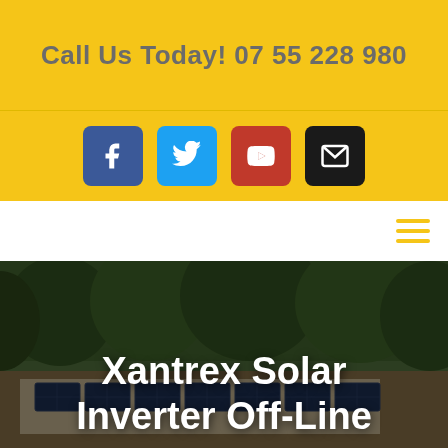Call Us Today! 07 55 228 980
[Figure (infographic): Social media icons row: Facebook (blue), Twitter (light blue), YouTube (red), Email (black)]
[Figure (other): Navigation bar with hamburger menu icon in yellow]
[Figure (photo): Aerial photo of a building with solar panels on the roof, surrounded by trees]
Xantrex Solar Inverter Off-Line